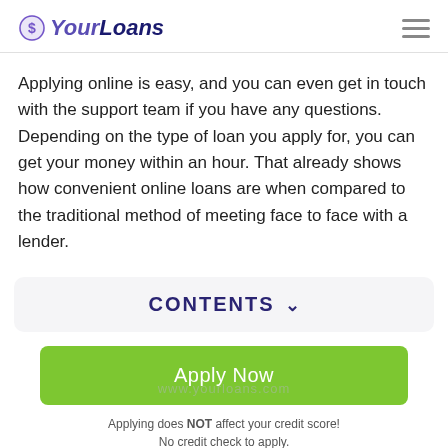YourLoans
Applying online is easy, and you can even get in touch with the support team if you have any questions. Depending on the type of loan you apply for, you can get your money within an hour. That already shows how convenient online loans are when compared to the traditional method of meeting face to face with a lender.
CONTENTS
Apply Now
Applying does NOT affect your credit score!
No credit check to apply.